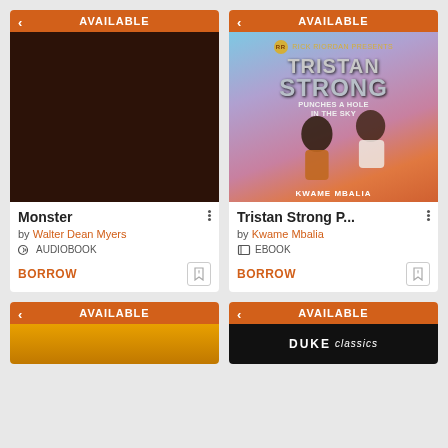[Figure (screenshot): Library app UI showing available book cards in a 2-column grid. Top-left: Monster by Walter Dean Myers (Audiobook, dark cover). Top-right: Tristan Strong P... by Kwame Mbalia (Ebook, illustrated cover). Bottom row partially visible: two more available books.]
AVAILABLE
Monster
by Walter Dean Myers
AUDIOBOOK
BORROW
AVAILABLE
Tristan Strong P...
by Kwame Mbalia
EBOOK
BORROW
AVAILABLE
AVAILABLE